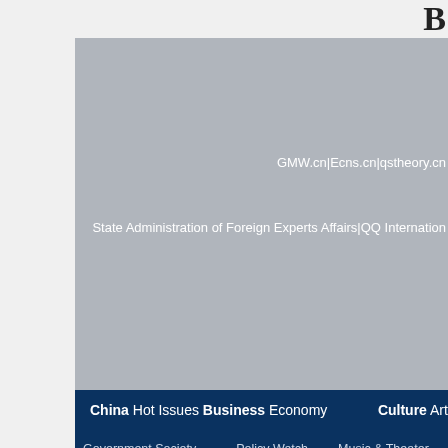[Figure (screenshot): Partial website screenshot showing navigation header of China.org.cn or similar Chinese news portal. Gray banner area with white text links and dark navy blue navigation bar with category links.]
GMW.cn|Ecns.cn|qstheory.cn
State Administration of Foreign Experts Affairs|QQ International
China Hot Issues Business Economy  Culture Art  World Asia P
Government Society   Policy Watch   Music & Theater   US & Ca
Innovation   China Data   Film & TV Books   Latin Am
Education Companies Markets   Heritage   Europe A
Cover Story People   Industries View   Events & Festivals   Middle
Photos   Motoring TechColumns Video Photo   Reporters' Jo
Green China